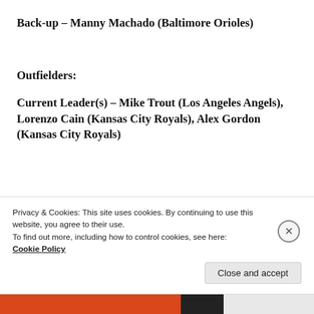Back-up – Manny Machado (Baltimore Orioles)
Outfielders:
Current Leader(s) – Mike Trout (Los Angeles Angels), Lorenzo Cain (Kansas City Royals), Alex Gordon (Kansas City Royals)
Privacy & Cookies: This site uses cookies. By continuing to use this website, you agree to their use.
To find out more, including how to control cookies, see here:
Cookie Policy
Close and accept